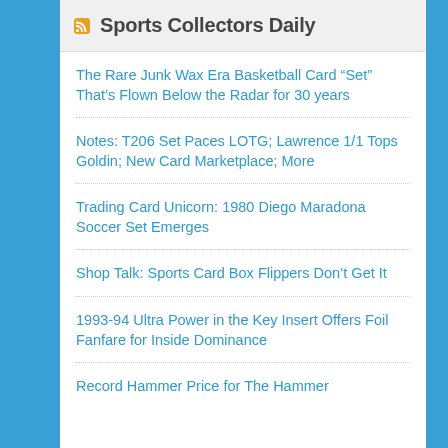Sports Collectors Daily
The Rare Junk Wax Era Basketball Card “Set” That’s Flown Below the Radar for 30 years
Notes: T206 Set Paces LOTG; Lawrence 1/1 Tops Goldin; New Card Marketplace; More
Trading Card Unicorn: 1980 Diego Maradona Soccer Set Emerges
Shop Talk: Sports Card Box Flippers Don’t Get It
1993-94 Ultra Power in the Key Insert Offers Foil Fanfare for Inside Dominance
Record Hammer Price for The Hammer